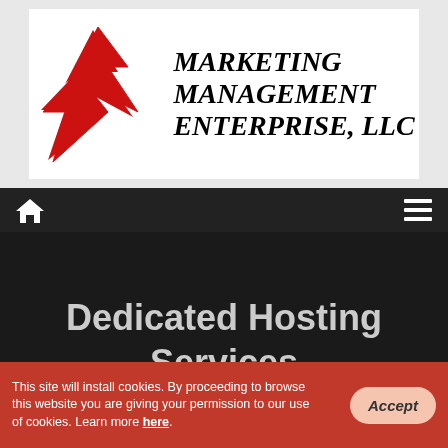[Figure (logo): Marketing Management Enterprise, LLC logo — red geometric star/arrow shape on left, bold italic black text on right reading MARKETING MANAGEMENT ENTERPRISE, LLC on white background]
[Figure (screenshot): Dark navigation bar with white home icon on left and white hamburger menu icon on right]
Dedicated Hosting Services
[Figure (other): Live Chat speech bubble button in grey]
This site will install cookies. By proceeding to browse this website you are giving your permission to our use of cookies. Learn more here.